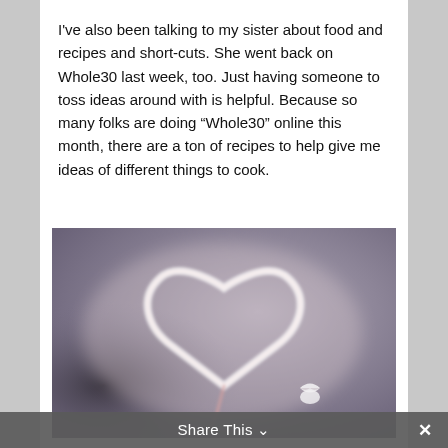I've also been talking to my sister about food and recipes and short-cuts. She went back on Whole30 last week, too. Just having someone to toss ideas around with is helpful. Because so many folks are doing “Whole30” online this month, there are a ton of recipes to help give me ideas of different things to cook.
[Figure (photo): A blurred photo showing a glowing light-painted heart shape against a soft purple/grey background, with a small white lips/kiss mark in the lower right area of the image.]
Share This ∨  ×